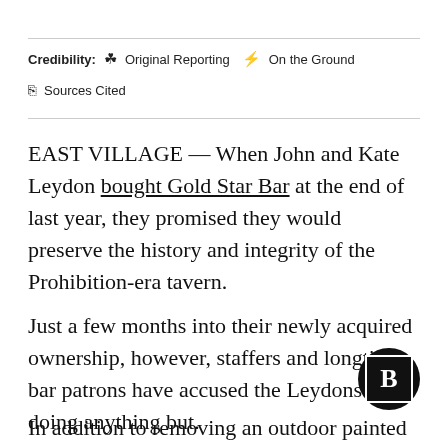Credibility: Original Reporting  On the Ground  Sources Cited
EAST VILLAGE — When John and Kate Leydon bought Gold Star Bar at the end of last year, they promised they would preserve the history and integrity of the Prohibition-era tavern.
Just a few months into their newly acquired ownership, however, staffers and longtime bar patrons have accused the Leydons of doing anything but.
In addition to removing an outdoor painted sign